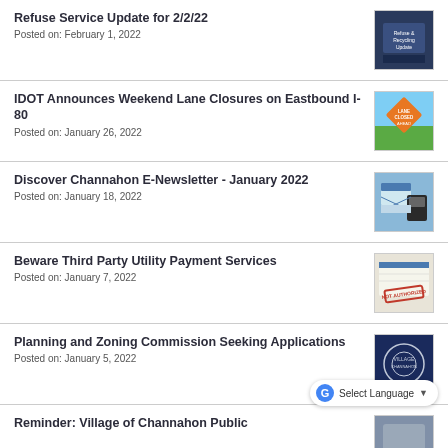Refuse Service Update for 2/2/22
Posted on: February 1, 2022
IDOT Announces Weekend Lane Closures on Eastbound I-80
Posted on: January 26, 2022
Discover Channahon E-Newsletter - January 2022
Posted on: January 18, 2022
Beware Third Party Utility Payment Services
Posted on: January 7, 2022
Planning and Zoning Commission Seeking Applications
Posted on: January 5, 2022
Reminder: Village of Channahon Public